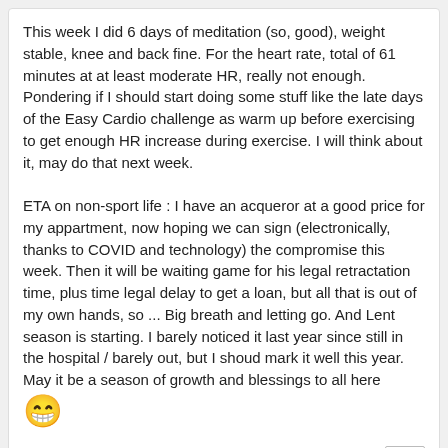This week I did 6 days of meditation (so, good), weight stable, knee and back fine. For the heart rate, total of 61 minutes at at least moderate HR, really not enough.
Pondering if I should start doing some stuff like the late days of the Easy Cardio challenge as warm up before exercising to get enough HR increase during exercise. I will think about it, may do that next week.

ETA on non-sport life : I have an acqueror at a good price for my appartment, now hoping we can sign (electronically, thanks to COVID and technology) the compromise this week. Then it will be waiting game for his legal retractation time, plus time legal delay to get a loan, but all that is out of my own hands, so ... Big breath and letting go. And Lent season is starting. I barely noticed it last year since still in the hospital / barely out, but I shoud mark it well this year. May it be a season of growth and blessings to all here 😁
Likes  17
Anek
Sorceress ♀ from Germany
Posts: 4510